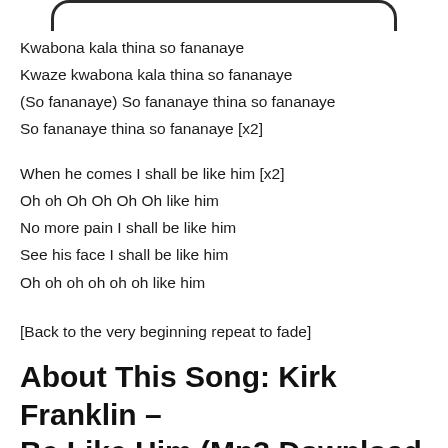[Figure (other): Top portion of a mobile device screen frame (rounded rectangle border, top edge)]
Kwabona kala thina so fananaye
Kwaze kwabona kala thina so fananaye
(So fananaye) So fananaye thina so fananaye
So fananaye thina so fananaye [x2]
When he comes I shall be like him [x2]
Oh oh Oh Oh Oh Oh like him
No more pain I shall be like him
See his face I shall be like him
Oh oh oh oh oh oh like him
[Back to the very beginning repeat to fade]
About This Song: Kirk Franklin – Be Like Him (Mp3 Download,